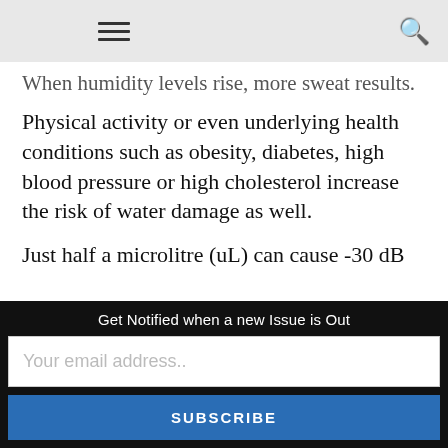≡  🔍
When humidity levels rise, more sweat results. Physical activity or even underlying health conditions such as obesity, diabetes, high blood pressure or high cholesterol increase the risk of water damage as well.
Just half a microlitre (uL) can cause -30 dB attenuation, and sometimes even complete failure. With the push of a button, Redux treats hearing aids to a state of complete dryness in
Get Notified when a new Issue is Out
Your email address..
SUBSCRIBE